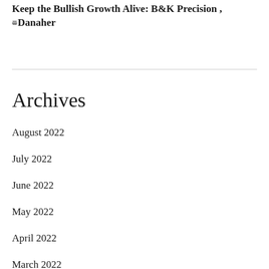Keep the Bullish Growth Alive: B&K Precision , Danaher
Archives
August 2022
July 2022
June 2022
May 2022
April 2022
March 2022